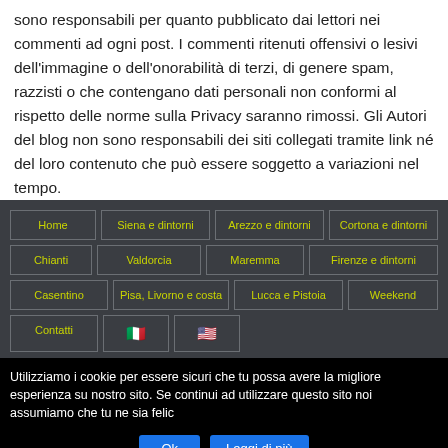sono responsabili per quanto pubblicato dai lettori nei commenti ad ogni post. I commenti ritenuti offensivi o lesivi dell’immagine o dell’onorabilità di terzi, di genere spam, razzisti o che contengano dati personali non conformi al rispetto delle norme sulla Privacy saranno rimossi. Gli Autori del blog non sono responsabili dei siti collegati tramite link né del loro contenuto che può essere soggetto a variazioni nel tempo.
Home
Siena e dintorni
Arezzo e dintorni
Cortona e dintorni
Chianti
Valdorcia
Maremma
Firenze e dintorni
Casentino
Pisa, Livorno e costa
Lucca e Pistoia
Weekend
Contatti
Utilizziamo i cookie per essere sicuri che tu possa avere la migliore esperienza su nostro sito. Se continui ad utilizzare questo sito noi assumiamo che tu ne sia felic
Ok
Leggi di più